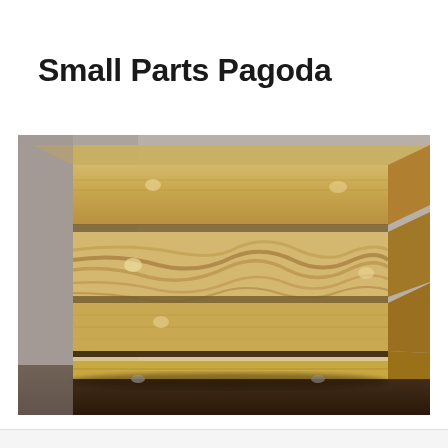Small Parts Pagoda
[Figure (photo): A wooden box with stacked tiers resembling a pagoda, made from light-colored wood with visible grain patterns. The box has multiple horizontal layers/drawers, the middle section showing dramatic wood grain figuring. A dark accent stripe is visible near the base. The object sits on small feet on a dark surface, photographed against a light background.]